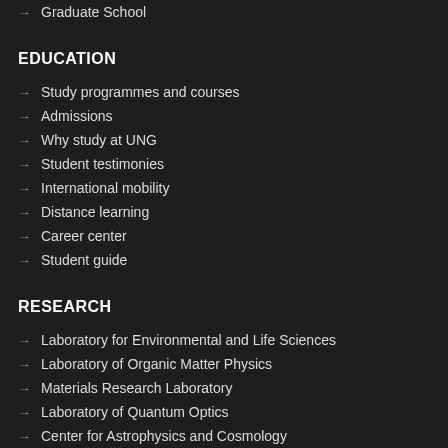→ Graduate School
EDUCATION
→ Study programmes and courses
→ Admissions
→ Why study at UNG
→ Student testimonies
→ International mobility
→ Distance learning
→ Career center
→ Student guide
RESEARCH
→ Laboratory for Environmental and Life Sciences
→ Laboratory of Organic Matter Physics
→ Materials Research Laboratory
→ Laboratory of Quantum Optics
→ Center for Astrophysics and Cosmology